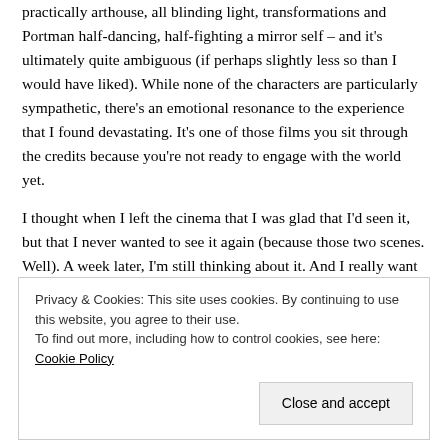practically arthouse, all blinding light, transformations and Portman half-dancing, half-fighting a mirror self – and it's ultimately quite ambiguous (if perhaps slightly less so than I would have liked). While none of the characters are particularly sympathetic, there's an emotional resonance to the experience that I found devastating. It's one of those films you sit through the credits because you're not ready to engage with the world yet.
I thought when I left the cinema that I was glad that I'd seen it, but that I never wanted to see it again (because those two scenes. Well). A week later, I'm still thinking about it. And I really want to see it again.
Privacy & Cookies: This site uses cookies. By continuing to use this website, you agree to their use. To find out more, including how to control cookies, see here: Cookie Policy